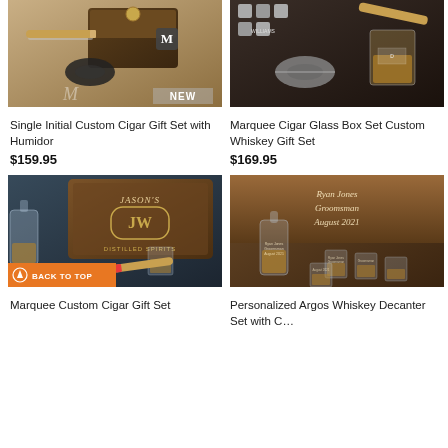[Figure (photo): Cigar gift set with humidor box, cigar rest, and cutter on wooden table. NEW badge visible.]
Single Initial Custom Cigar Gift Set with Humidor
$159.95
[Figure (photo): Marquee cigar glass box set with whiskey glass, cigar cutter, and whiskey stones on dark surface.]
Marquee Cigar Glass Box Set Custom Whiskey Gift Set
$169.95
[Figure (photo): Marquee custom cigar gift set with wooden box engraved JASON'S JW DISTILLED SPIRITS, decanter, glass, and cigar.]
Marquee Custom Cigar Gift Set
[Figure (photo): Personalized Argos whiskey decanter set with custom whiskey glasses engraved Ryan Jones Groomsman August 2021.]
Personalized Argos Whiskey Decanter Set with 5 Custom